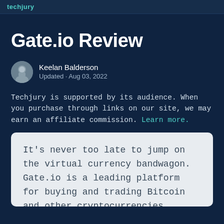techjury
Gate.io Review
Keelan Balderson
Updated · Aug 03, 2022
Techjury is supported by its audience. When you purchase through links on our site, we may earn an affiliate commission. Learn more.
It's never too late to jump on the virtual currency bandwagon. Gate.io is a leading platform for buying and trading Bitcoin and other cryptocurrencies. Learn everything about this exciting crypto exchange and how